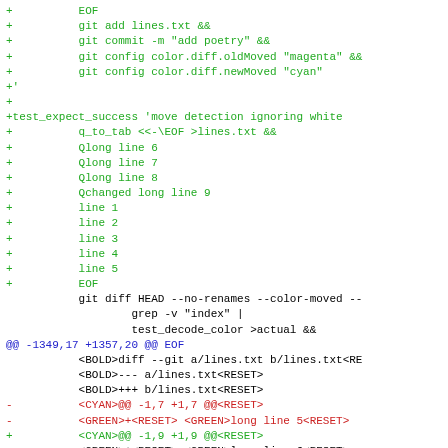Code diff snippet showing git commands and test_expect_success blocks with color-coded diff output